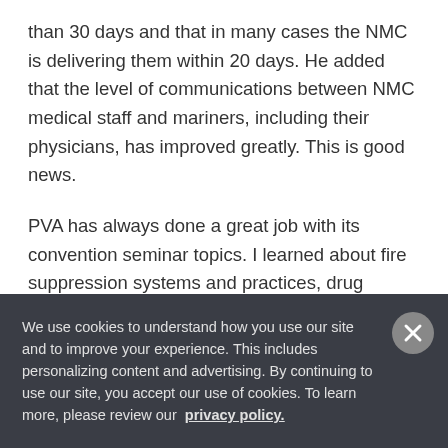than 30 days and that in many cases the NMC is delivering them within 20 days. He added that the level of communications between NMC medical staff and mariners, including their physicians, has improved greatly. This is good news.
PVA has always done a great job with its convention seminar topics. I learned about fire suppression systems and practices, drug testing requirements, strategies to manage customer complaints, legal issues for passenger vessel operators, new trends in vessel
We use cookies to understand how you use our site and to improve your experience. This includes personalizing content and advertising. By continuing to use our site, you accept our use of cookies. To learn more, please review our privacy policy.